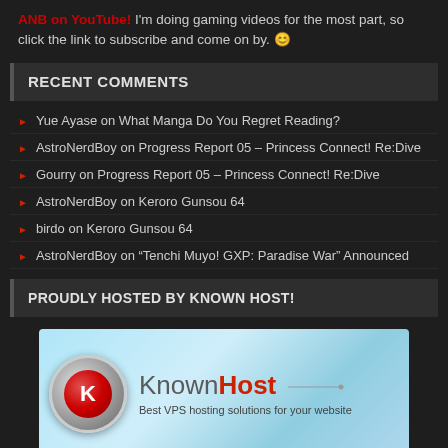ANB on YouTube! I'm doing gaming videos for the most part, so click the link to subscribe and come on by. 😊
RECENT COMMENTS
Yue Ayase on What Manga Do You Regret Reading?
AstroNerdBoy on Progress Report 05 – Princess Connect! Re:Dive
Gourry on Progress Report 05 – Princess Connect! Re:Dive
AstroNerdBoy on Keroro Gunsou 64
birdo on Keroro Gunsou 64
AstroNerdBoy on "Tenchi Muyo! GXP: Paradise War" Announced
PROUDLY HOSTED BY KNOWN HOST!
[Figure (logo): KnownHost logo with red KH shield icon and tagline 'Best VPS hosting solutions for your website' on blue gradient background]